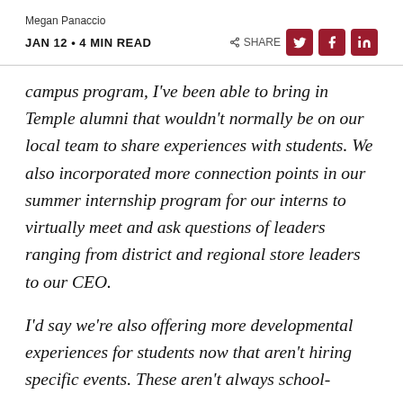Megan Panaccio
JAN 12 · 4 MIN READ
campus program, I've been able to bring in Temple alumni that wouldn't normally be on our local team to share experiences with students. We also incorporated more connection points in our summer internship program for our interns to virtually meet and ask questions of leaders ranging from district and regional store leaders to our CEO.
I'd say we're also offering more developmental experiences for students now that aren't hiring specific events. These aren't always school-